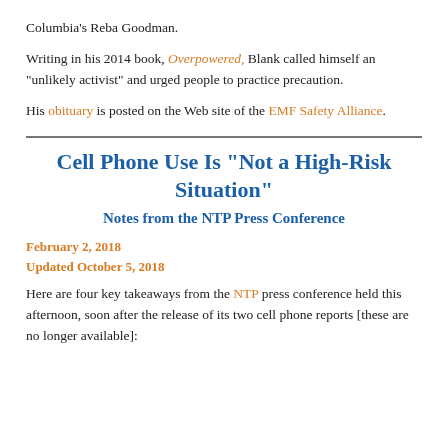Columbia’s Reba Goodman.
Writing in his 2014 book, Overpowered, Blank called himself an “unlikely activist” and urged people to practice precaution.
His obituary is posted on the Web site of the EMF Safety Alliance.
Cell Phone Use Is “Not a High-Risk Situation”
Notes from the NTP Press Conference
February 2, 2018
Updated October 5, 2018
Here are four key takeaways from the NTP press conference held this afternoon, soon after the release of its two cell phone reports [these are no longer available]: